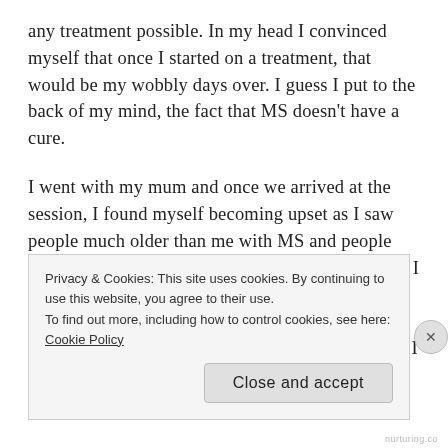any treatment possible. In my head I convinced myself that once I started on a treatment, that would be my wobbly days over. I guess I put to the back of my mind, the fact that MS doesn't have a cure.
I went with my mum and once we arrived at the session, I found myself becoming upset as I saw people much older than me with MS and people experiencing relapses at the time. I will admit that I definitely freaked out and became very emotional when they were asking around the room how long everyone had been diagnosed with MS for. Surely I
Privacy & Cookies: This site uses cookies. By continuing to use this website, you agree to their use.
To find out more, including how to control cookies, see here: Cookie Policy
Close and accept